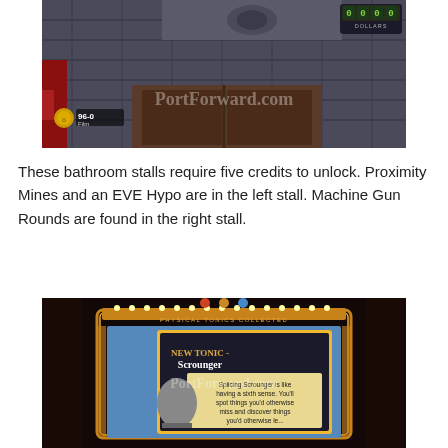[Figure (screenshot): BioShock video game screenshot showing bathroom stalls interior with crates, stone walls, and a currency counter showing '0000 DOLLARS' in top right. HUD shows '96-0 Film' with PortForward.com watermark.]
These bathroom stalls require five credits to unlock. Proximity Mines and an EVE Hypo are in the left stall. Machine Gun Rounds are found in the right stall.
[Figure (screenshot): BioShock video game screenshot showing a Physical Tonics machine with golden decorative frame and neon lights. Screen displays 'NEW TONIC - Scrounger' with text 'Splicing Scrounger is like having a sixth sense. You'll spot things you'd otherwise miss and discover things you'd otherwise...' and PortForward.com watermark. Three tonic icons shown at top labeled 'PHYSICAL TONICS COLLECTED'.]